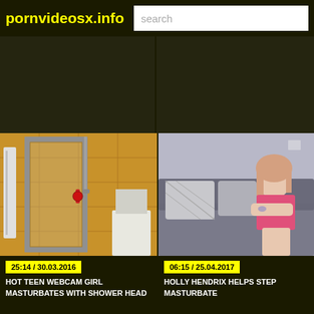pornvideosx.info
[Figure (screenshot): Advertisement banner area, dark background, two columns]
[Figure (photo): Video thumbnail: bathroom shower area with orange/yellow tiles and shower door]
25:14 / 30.03.2016
HOT TEEN WEBCAM GIRL MASTURBATES WITH SHOWER HEAD
[Figure (photo): Video thumbnail: young woman with pink top sitting on grey couch]
06:15 / 25.04.2017
HOLLY HENDRIX HELPS STEP MASTURBATE